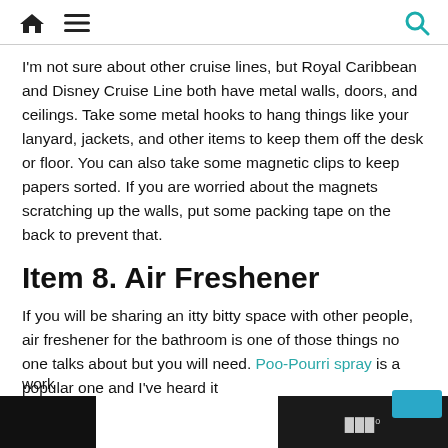Home | Menu | Search
I'm not sure about other cruise lines, but Royal Caribbean and Disney Cruise Line both have metal walls, doors, and ceilings. Take some metal hooks to hang things like your lanyard, jackets, and other items to keep them off the desk or floor. You can also take some magnetic clips to keep papers sorted. If you are worried about the magnets scratching up the walls, put some packing tape on the back to prevent that.
Item 8. Air Freshener
If you will be sharing an itty bitty space with other people, air freshener for the bathroom is one of those things no one talks about but you will need. Poo-Pourri spray is a popular one and I've heard it work…